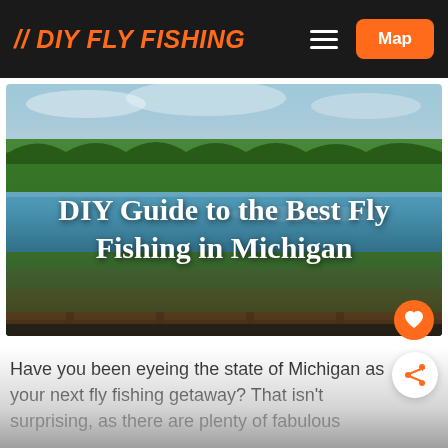// DIY FLY FISHING  [menu] [Map]
[Figure (photo): Aerial view of a blue river or lake surrounded by dense green forest under a partly cloudy sky, with a wooden railing in the foreground, overlaid with bold white text reading 'DIY Guide to the Best Fly Fishing in Michigan']
DIY Guide to the Best Fly Fishing in Michigan
Have you been eyeing the state of Michigan as your next fly fishing getaway? That isn't surprising, as there are plenty of fabulous